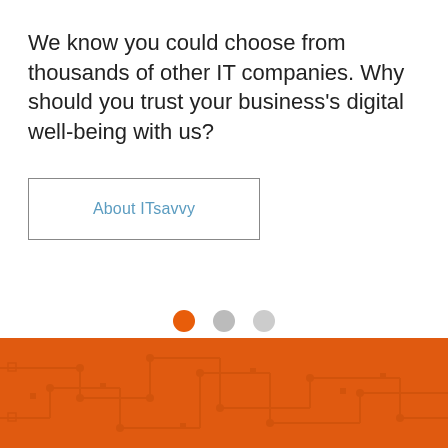We know you could choose from thousands of other IT companies. Why should you trust your business's digital well-being with us?
About ITsavvy
[Figure (infographic): Three pagination dots: one orange (active) and two grey (inactive)]
[Figure (illustration): Orange section at the bottom with circuit board pattern overlay]